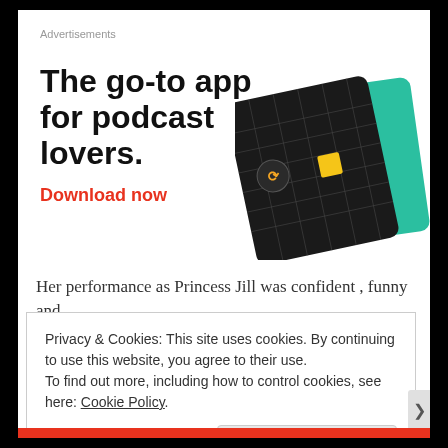Advertisements
[Figure (illustration): Advertisement banner for a podcast app. Large bold black text reads 'The go-to app for podcast lovers.' with a red 'Download now' call to action link. On the right side are two overlapping cards — a dark/black card with a grid pattern and yellow square, and a teal/green card with cursive white text 'On'.]
Her performance as Princess Jill was confident , funny and
Privacy & Cookies: This site uses cookies. By continuing to use this website, you agree to their use.
To find out more, including how to control cookies, see here: Cookie Policy
Close and accept